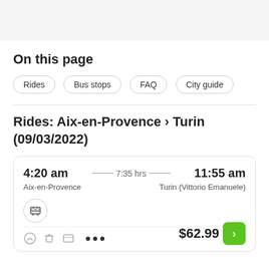On this page
Rides
Bus stops
FAQ
City guide
Rides: Aix-en-Provence › Turin (09/03/2022)
| Depart | Duration | Arrive | From | To | Price |
| --- | --- | --- | --- | --- | --- |
| 4:20 am | 7:35 hrs | 11:55 am | Aix-en-Provence | Turin (Vittorio Emanuele) | $62.99 |